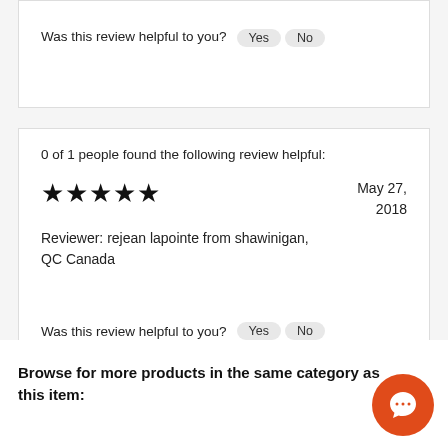Was this review helpful to you?  Yes  No
0 of 1 people found the following review helpful:
★★★★★  May 27, 2018
Reviewer: rejean lapointe from shawinigan, QC Canada
Was this review helpful to you?  Yes  No
Browse for more products in the same category as this item: